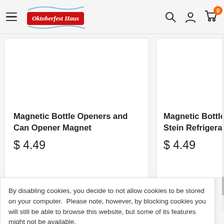Oktoberfest Haus
Magnetic Bottle Openers and Can Opener Magnet
$ 4.49
Magnetic Bottle O... Stein Refrigerator...
$ 4.49
By disabling cookies, you decide to not allow cookies to be stored on your computer.  Please note, however, by blocking cookies you will still be able to browse this website, but some of its features might not be available.
Accept
Payment Card Industry (PCI) compliant.